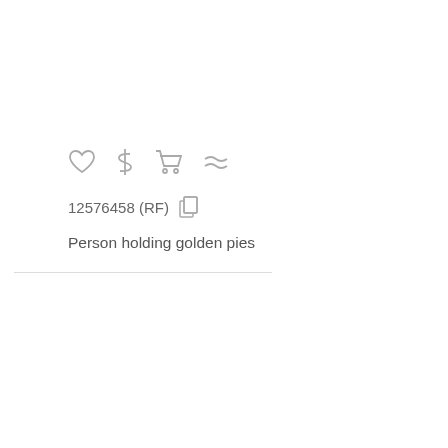[Figure (infographic): Row of UI icons: heart (favorite), dollar sign (price), shopping cart (add to cart), approximately equal (similar)]
12576458 (RF)
Person holding golden pies